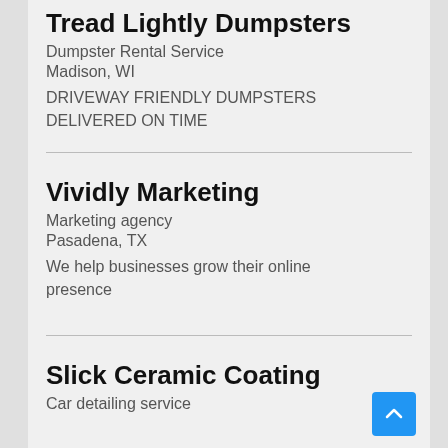Tread Lightly Dumpsters
Dumpster Rental Service
Madison, WI
DRIVEWAY FRIENDLY DUMPSTERS DELIVERED ON TIME
Vividly Marketing
Marketing agency
Pasadena, TX
We help businesses grow their online presence
Slick Ceramic Coating
Car detailing service